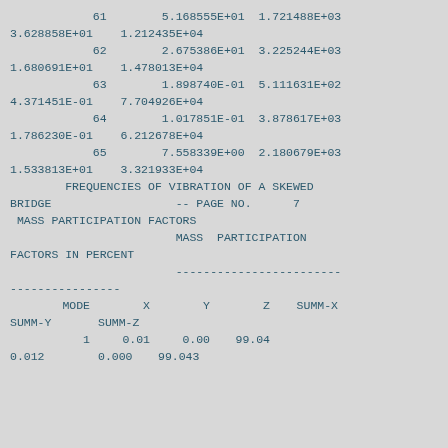61        5.168555E+01  1.721488E+03
3.628858E+01    1.212435E+04
            62        2.675386E+01  3.225244E+03
1.680691E+01    1.478013E+04
            63        1.898740E-01  5.111631E+02
4.371451E-01    7.704926E+04
            64        1.017851E-01  3.878617E+03
1.786230E-01    6.212678E+04
            65        7.558339E+00  2.180679E+03
1.533813E+01    3.321933E+04
FREQUENCIES OF VIBRATION OF A SKEWED BRIDGE                -- PAGE NO.    7
MASS PARTICIPATION FACTORS
MASS  PARTICIPATION FACTORS IN PERCENT
--------------------------------------------------------
----------------
| MODE | X | Y | Z | SUMM-X | SUMM-Y | SUMM-Z |
| --- | --- | --- | --- | --- | --- | --- |
| 1 | 0.01 | 0.00 | 99.04 | 0.012 | 0.000 | 99.043 |